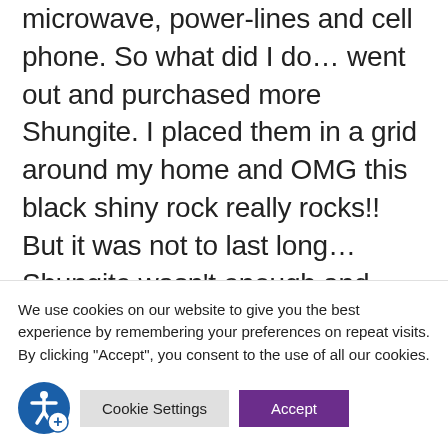microwave, power-lines and cell phone. So what did I do… went out and purchased more Shungite. I placed them in a grid around my home and OMG this black shiny rock really rocks!! But it was not to last long… Shungite wasn't enough and eventually I ended up moving
We use cookies on our website to give you the best experience by remembering your preferences on repeat visits. By clicking "Accept", you consent to the use of all our cookies.